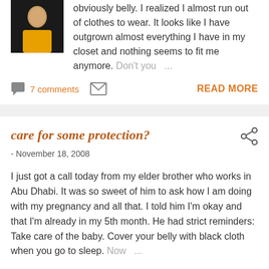obviously belly. I realized I almost run out of clothes to wear. It looks like I have outgrown almost everything I have in my closet and nothing seems to fit me anymore. Don't you ...
7 comments
READ MORE
care for some protection?
- November 18, 2008
I just got a call today from my elder brother who works in Abu Dhabi. It was so sweet of him to ask how I am doing with my pregnancy and all that. I told him I'm okay and that I'm already in my 5th month. He had strict reminders: Take care of the baby. Cover your belly with black cloth when you go to sleep. Now ...